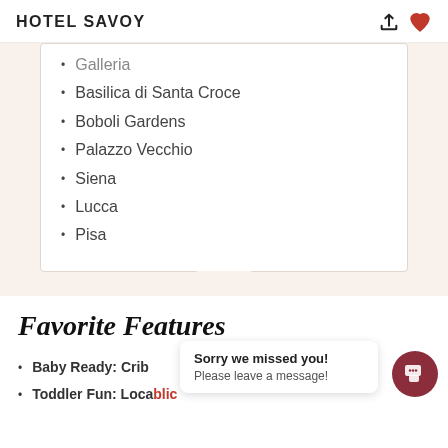HOTEL SAVOY
Galleria (truncated/cut off at top)
Basilica di Santa Croce
Boboli Gardens
Palazzo Vecchio
Siena
Lucca
Pisa
Favorite Features
Baby Ready: Crib
Toddler Fun: Loca... blic...
Sorry we missed you! Please leave a message!